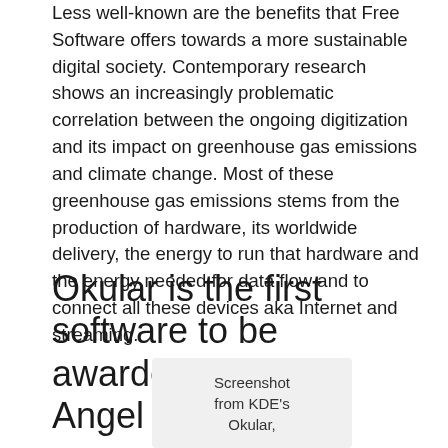Less well-known are the benefits that Free Software offers towards a more sustainable digital society. Contemporary research shows an increasingly problematic correlation between the ongoing digitization and its impact on greenhouse gas emissions and climate change. Most of these greenhouse gas emissions stems from the production of hardware, its worldwide delivery, the energy to run that hardware and the energy needed for data flow and to connect all these devices aka Internet and streaming.
Okular is the first software to be awarded the Blue Angel ecolabel
[Figure (screenshot): Screenshot from KDE's Okular, partially visible at bottom of page]